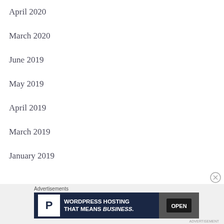April 2020
March 2020
June 2019
May 2019
April 2019
March 2019
January 2019
[Figure (screenshot): Advertisement banner for WordPress Hosting with text 'WORDPRESS HOSTING THAT MEANS BUSINESS.' and an OPEN sign photo]
Advertisements